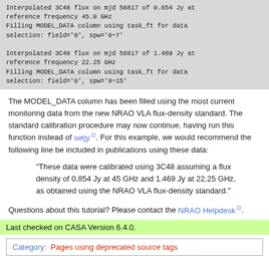Interpolated 3C48 flux on mjd 58817 of 0.854 Jy at reference frequency 45.0 GHz
Filling MODEL_DATA column using task_ft for data selection: field='0', spw='0~7'

Interpolated 3C48 flux on mjd 58817 of 1.469 Jy at reference frequency 22.25 GHz
Filling MODEL_DATA column using task_ft for data selection: field='0', spw='8~15'
The MODEL_DATA column has been filled using the most current monitoring data from the new NRAO VLA flux-density standard. The standard calibration procedure may now continue, having run this function instead of setjy. For this example, we would recommend the following line be included in publications using these data:
"These data were calibrated using 3C48 assuming a flux density of 0.854 Jy at 45 GHz and 1.469 Jy at 22.25 GHz, as obtained using the NRAO VLA flux-density standard."
Questions about this tutorial? Please contact the NRAO Helpdesk.
Last checked on CASA Version 6.4.0.
Category: Pages using deprecated source tags